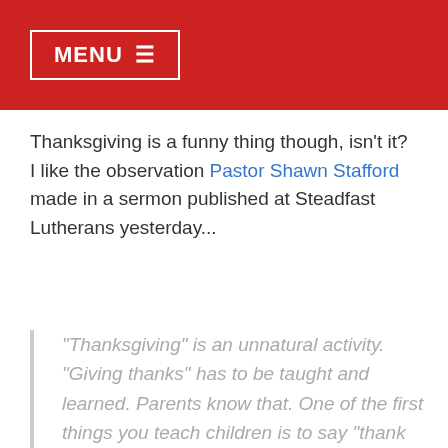MENU ≡
Thanksgiving is a funny thing though, isn't it? I like the observation Pastor Shawn Stafford made in a sermon published at Steadfast Lutherans yesterday...
"Thanksgiving" is an unnatural activity. "Giving thanks" has to be taught and learned. Parents know that. One of the first things you teach children is to say "thank you" when they receive something. "Now what do you say?" you remind them. "Thank you." Saying "thank you" is a piece of good manners, a small but significant